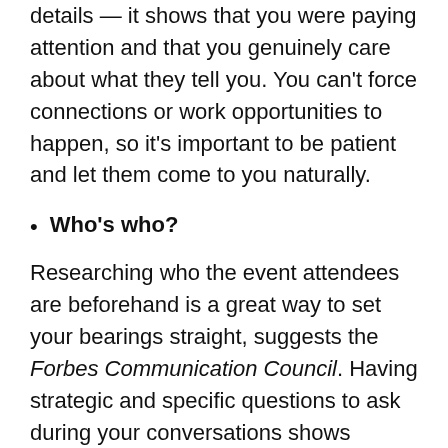details — it shows that you were paying attention and that you genuinely care about what they tell you. You can't force connections or work opportunities to happen, so it's important to be patient and let them come to you naturally.
Who's who?
Researching who the event attendees are beforehand is a great way to set your bearings straight, suggests the Forbes Communication Council. Having strategic and specific questions to ask during your conversations shows confidence and a drive to succeed!